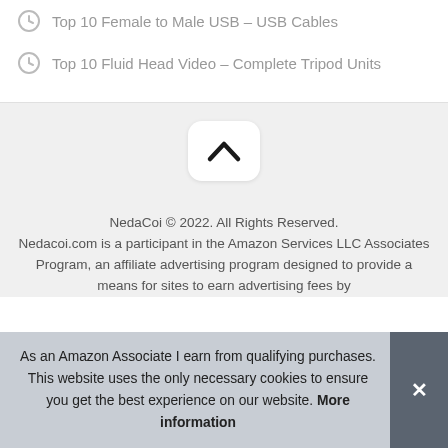Top 10 Female to Male USB – USB Cables
Top 10 Fluid Head Video – Complete Tripod Units
[Figure (other): Scroll-to-top button with upward chevron arrow on grey background]
NedaCoi © 2022. All Rights Reserved. Nedacoi.com is a participant in the Amazon Services LLC Associates Program, an affiliate advertising program designed to provide a means for sites to earn advertising fees by
As an Amazon Associate I earn from qualifying purchases. This website uses the only necessary cookies to ensure you get the best experience on our website. More information